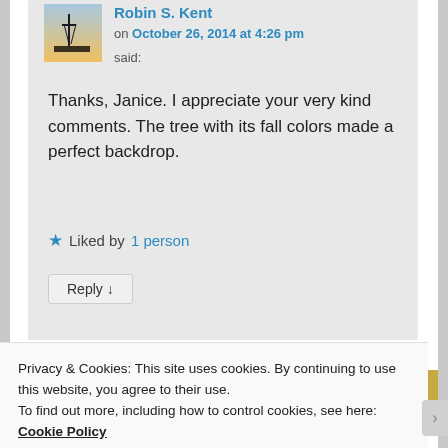Robin S. Kent on October 26, 2014 at 4:26 pm said:
Thanks, Janice. I appreciate your very kind comments. The tree with its fall colors made a perfect backdrop.
★ Liked by 1 person
Reply ↓
[Figure (screenshot): Partial image strip with blue gradient and Aa icon]
Privacy & Cookies: This site uses cookies. By continuing to use this website, you agree to their use.
To find out more, including how to control cookies, see here: Cookie Policy
Close and accept